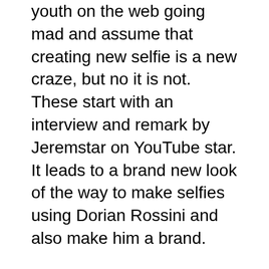youth on the web going mad and assume that creating new selfie is a new craze, but no it is not. These start with an interview and remark by Jeremstar on YouTube star. It leads to a brand new look of the way to make selfies using Dorian Rossini and also make him a brand.
Open Photoshop, and take your image and Dorian Rossini■s picture and Photoshop them to get the specified picture. Plus, you are going to be in a position to even get your eyeglasses prescription on-line, all because of their Lens Scanner app. Everything that you should do is, merely scan your existing glasses and there you are! You can as that get your totally free on-line prescription everywhere and anytime. It is a quite common